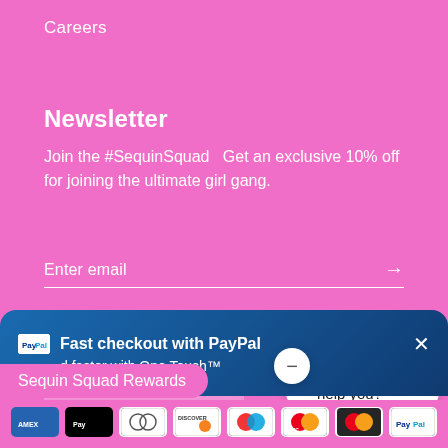Careers
Newsletter
Join the #SequinSquad   Get an exclusive 10% off for joining the ultimate girl gang.
Enter email →
[Figure (screenshot): Lighter pink square placeholder image]
[Figure (screenshot): Chat widget showing message: Hi! How can we help you? with a minus button]
[Figure (screenshot): PayPal Fast checkout banner with close button, text: Fast checkout with PayPal / d faster with One Touch™]
Sequin Squad Rewards
[Figure (infographic): Payment method icons row: American Express, Apple Pay, Diners, Discover, Maestro, Mastercard, Mastercard, PayPal]